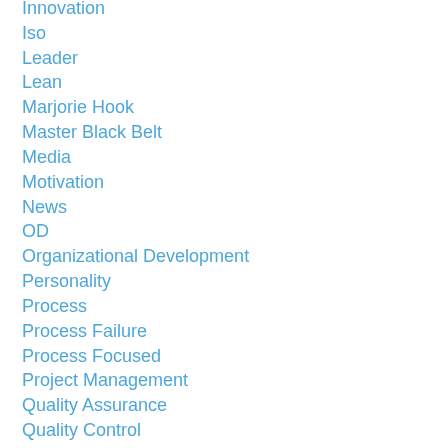Innovation
Iso
Leader
Lean
Marjorie Hook
Master Black Belt
Media
Motivation
News
OD
Organizational Development
Personality
Process
Process Failure
Process Focused
Project Management
Quality Assurance
Quality Control
Quote
Quotes
Rework